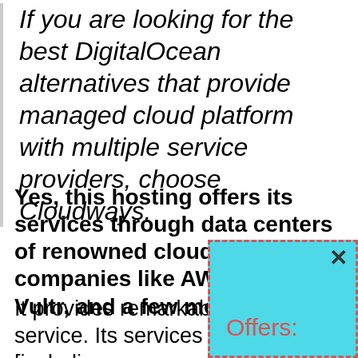If you are looking for the best DigitalOcean alternatives that provide managed cloud platform with multiple service providers, choose Cloudways.
Yes, this hosting offers its services through data centers of renowned cloud hosting companies like AWS, Linode, Vultr, and a few more.
It provides remarkably good service. Its services [including
[Figure (screenshot): A popup/tooltip overlay with a cyan/turquoise background and red dashed border, showing an 'x' close button and the label 'Offers:' in red/orange text.]